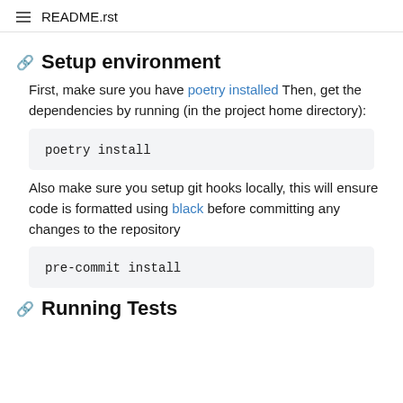README.rst
Setup environment
First, make sure you have poetry installed Then, get the dependencies by running (in the project home directory):
Also make sure you setup git hooks locally, this will ensure code is formatted using black before committing any changes to the repository
Running Tests